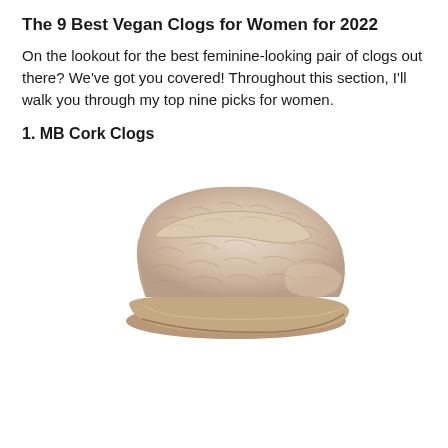The 9 Best Vegan Clogs for Women for 2022
On the lookout for the best feminine-looking pair of clogs out there? We've got you covered! Throughout this section, I'll walk you through my top nine picks for women.
1. MB Cork Clogs
[Figure (photo): A beige/cream cork-patterned clog shoe with a strap, shown in side profile against a white background.]